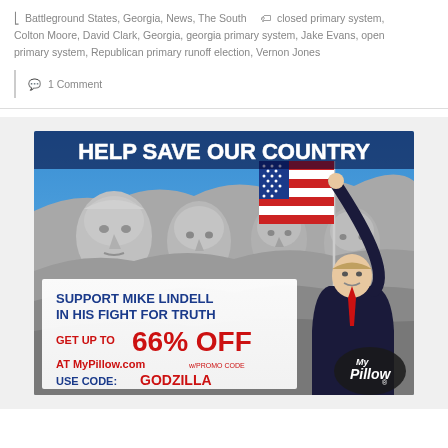Battleground States, Georgia, News, The South   closed primary system, Colton Moore, David Clark, Georgia, georgia primary system, Jake Evans, open primary system, Republican primary runoff election, Vernon Jones
1 Comment
[Figure (illustration): MyPillow advertisement showing Mount Rushmore in background with a man in a suit holding an American flag. Text reads: HELP SAVE OUR COUNTRY / SUPPORT MIKE LINDELL IN HIS FIGHT FOR TRUTH / GET UP TO 66% OFF AT MyPillow.com w/PROMO CODE / USE CODE: GODZILLA. MyPillow logo in bottom right.]